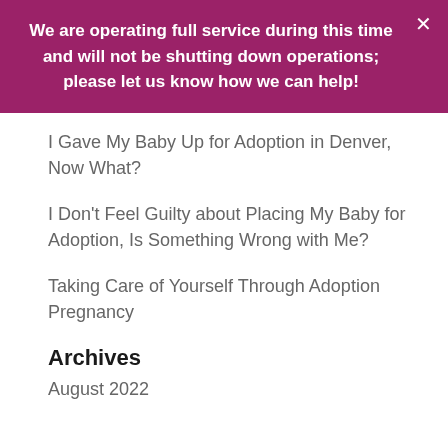We are operating full service during this time and will not be shutting down operations; please let us know how we can help!
I Gave My Baby Up for Adoption in Denver, Now What?
I Don't Feel Guilty about Placing My Baby for Adoption, Is Something Wrong with Me?
Taking Care of Yourself Through Adoption Pregnancy
Archives
August 2022